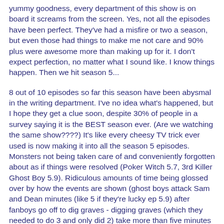yummy goodness, every department of this show is on board it screams from the screen. Yes, not all the episodes have been perfect. They've had a misfire or two a season, but even those had things to make me not care and 90% plus were awesome more than making up for it. I don't expect perfection, no matter what I sound like. I know things happen. Then we hit season 5...
8 out of 10 episodes so far this season have been abysmal in the writing department. I've no idea what's happened, but I hope they get a clue soon, despite 30% of people in a survey saying it is the BEST season ever. (Are we watching the same show????) It's like every cheesy TV trick ever used is now making it into all the season 5 episodes. Monsters not being taken care of and conveniently forgotten about as if things were resolved (Poker Witch 5.7, 3rd Killer Ghost Boy 5.9). Ridiculous amounts of time being glossed over by how the events are shown (ghost boys attack Sam and Dean minutes (like 5 if they're lucky ep 5.9) after fanboys go off to dig graves - digging graves (which they needed to do 3 and only did 2) take more than five minutes to unearth!!!!
Episode 5.2 Sam kills a couple of teenagers having been led